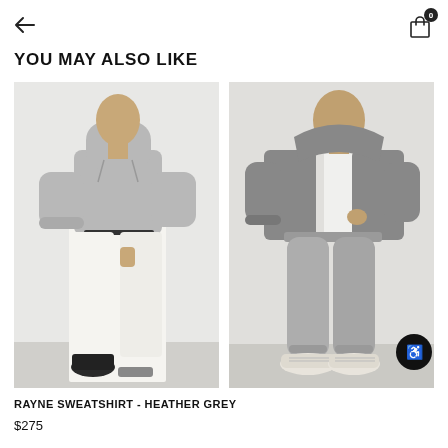← (back arrow) | 0 (cart icon)
YOU MAY ALSO LIKE
[Figure (photo): Woman wearing a grey cropped hoodie sweatshirt with white wide-leg pants and black shoes, standing against a white background]
[Figure (photo): Woman wearing a grey zip-up hoodie jacket over a white t-shirt with grey jogger sweatpants and white sneakers, standing against a light grey background]
RAYNE SWEATSHIRT - HEATHER GREY
$275